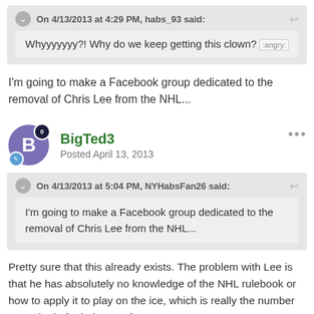On 4/13/2013 at 4:29 PM, habs_93 said:
Whyyyyyyy?! Why do we keep getting this clown? :angry:
I'm going to make a Facebook group dedicated to the removal of Chris Lee from the NHL...
BigTed3
Posted April 13, 2013
On 4/13/2013 at 5:04 PM, NYHabsFan26 said:
I'm going to make a Facebook group dedicated to the removal of Chris Lee from the NHL...
Pretty sure that this already exists. The problem with Lee is that he has absolutely no knowledge of the NHL rulebook or how to apply it to play on the ice, which is really the number one criteria for being a referee. It's